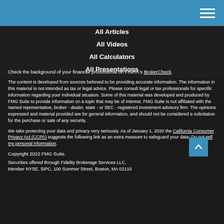All Articles
All Videos
All Calculators
All Presentations
Check the background of your financial professional on FINRA's BrokerCheck.
The content is developed from sources believed to be providing accurate information. The information in this material is not intended as tax or legal advice. Please consult legal or tax professionals for specific information regarding your individual situation. Some of this material was developed and produced by FMG Suite to provide information on a topic that may be of interest. FMG Suite is not affiliated with the named representative, broker - dealer, state - or SEC - registered investment advisory firm. The opinions expressed and material provided are for general information, and should not be considered a solicitation for the purchase or sale of any security.
We take protecting your data and privacy very seriously. As of January 1, 2020 the California Consumer Privacy Act (CCPA) suggests the following link as an extra measure to safeguard your data: Do not sell my personal information.
Copyright 2022 FMG Suite.
Securities offered through Fidelity Brokerage Services LLC, Member NYSE, SIPC, 100 Summer Street, Boston, MA 02110